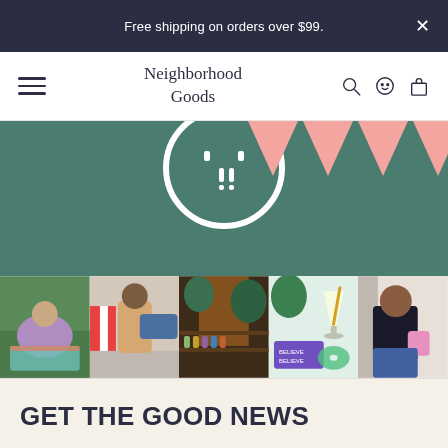Free shipping on orders over $99.
Neighborhood Goods
[Figure (illustration): Teal hero banner with partial white smiley face circle and pink triangle bunting flags]
[Figure (photo): Row of five lifestyle Instagram-style photos: person lounging on grass, person on street, bar/restaurant interior with plants, cocktail with purple book, person outside building]
GET THE GOOD NEWS
Your email Address
Sign up